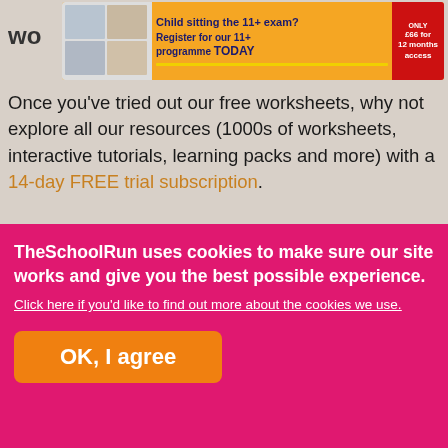[Figure (screenshot): Partial ad banner for 11+ exam programme registration with orange background, showing worksheet thumbnails on left and text 'Child sitting the 11+ exam? Register for our 11+ programme TODAY' with red badge showing price offer]
Once you've tried out our free worksheets, why not explore all our resources (1000s of worksheets, interactive tutorials, learning packs and more) with a 14-day FREE trial subscription.
[Figure (screenshot): Preview image of a worksheet titled 'Introduction to percentages' showing a large grid and smaller grids below, with a diagonal red/blue stripe decoration on the right edge]
TheSchoolRun uses cookies to make sure our site works and give you the best possible experience. Click here if you'd like to find out more about the cookies we use.
OK, I agree